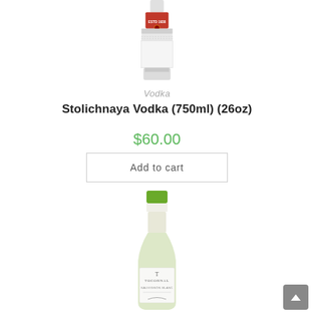[Figure (photo): Top portion of a Stolichnaya Vodka bottle showing the red label with ESTD 1938 text and bottle neck]
Vodka
Stolichnaya Vodka (750ml) (26oz)
$60.00
Add to cart
[Figure (photo): A bottle of Tocornal Sauvignon Blanc white wine with green cap and white label showing TOCORNAL branding]